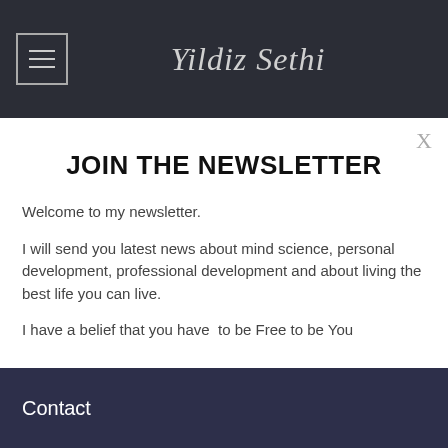Yildiz Sethi
JOIN THE NEWSLETTER
Welcome to my newsletter.
I will send you latest news about mind science, personal development, professional development and about living the best life you can live.
I have a belief that you have  to be Free to be You
Contact